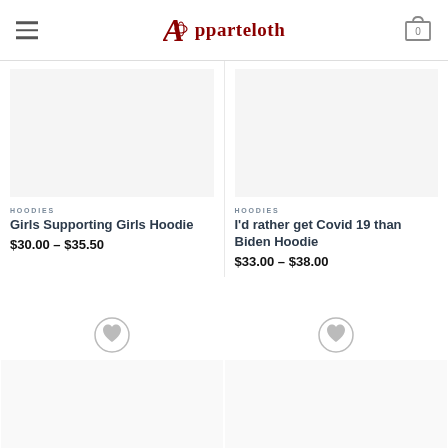Apparteloth — hamburger menu, cart icon
HOODIES
Girls Supporting Girls Hoodie
$30.00 – $35.50
HOODIES
I'd rather get Covid 19 than Biden Hoodie
$33.00 – $38.00